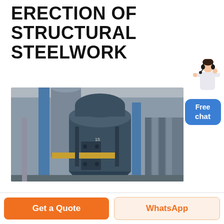ERECTION OF STRUCTURAL STEELWORK
Click to chat
[Figure (photo): Industrial structural steelwork erection site showing large cylindrical metal vessels and blue steel columns at a heavy industrial facility]
[Figure (illustration): Chat widget with female avatar figure and blue 'Free chat' button]
Get a Quote
WhatsApp